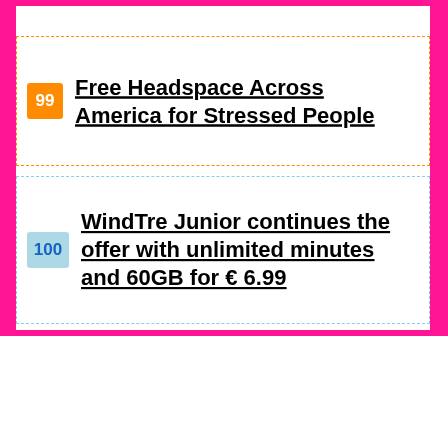99 Free Headspace Across America for Stressed People
100 WindTre Junior continues the offer with unlimited minutes and 60GB for € 6.99